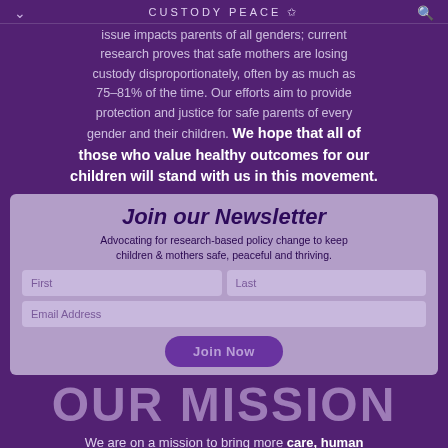CUSTODY PEACE
issue impacts parents of all genders; current research proves that safe mothers are losing custody disproportionately, often by as much as 75-81% of the time. Our efforts aim to provide protection and justice for safe parents of every gender and their children. We hope that all of those who value healthy outcomes for our children will stand with us in this movement.
Join our Newsletter
Advocating for research-based policy change to keep children & mothers safe, peaceful and thriving.
OUR MISSION
We are on a mission to bring more care, human kindness, health and justice into the family court system. Through the cultivation of community,